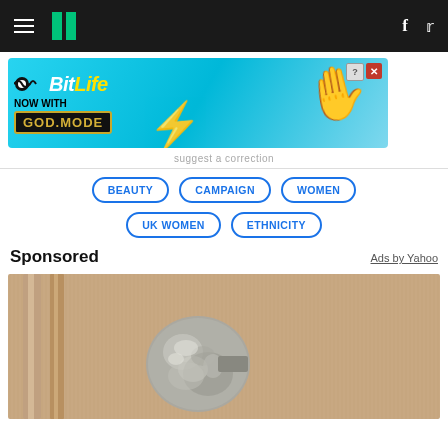HuffPost navigation bar with hamburger menu, logo, Facebook and Twitter icons
[Figure (photo): BitLife advertisement banner - 'NOW WITH GOD.MODE' on cyan/blue background with hand pointing graphic]
suggest a correction
BEAUTY  CAMPAIGN  WOMEN  UK WOMEN  ETHNICITY
Sponsored  Ads by Yahoo
[Figure (photo): Photo of a door knob wrapped in aluminum foil against a wooden door background]